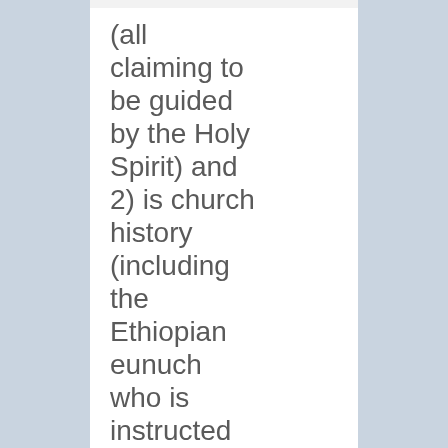(all claiming to be guided by the Holy Spirit) and 2) is church history (including the Ethiopian eunuch who is instructed by the Apostle Philip)